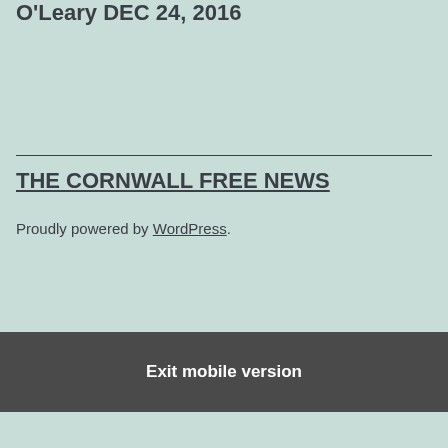O'Leary DEC 24, 2016
THE CORNWALL FREE NEWS
Proudly powered by WordPress.
Exit mobile version